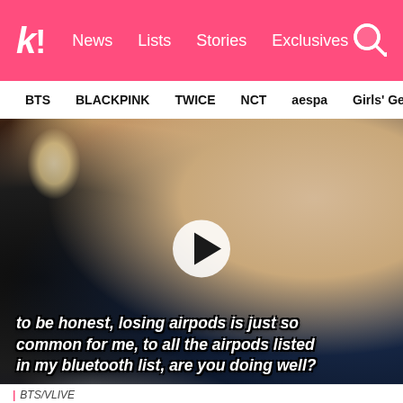k! News Lists Stories Exclusives
BTS BLACKPINK TWICE NCT aespa Girls' Generation
[Figure (screenshot): A K-pop idol with light blonde hair and a white t-shirt, looking down with lips pursed. A video play button is overlaid in the center. Subtitle text reads: to be honest, losing airpods is just so common for me, to all the airpods listed in my bluetooth list, are you doing well?]
| BTS/VLIVE